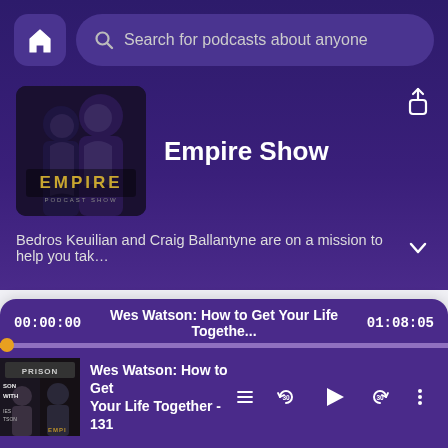[Figure (screenshot): Home button icon (house silhouette) in purple rounded square]
Search for podcasts about anyone
[Figure (illustration): Empire Podcast Show album art with two people and EMPIRE logo in gold text]
Empire Show
[Figure (illustration): Share/upload icon (arrow pointing up from box)]
Bedros Keuilian and Craig Ballantyne are on a mission to help you tak…
Popular episodes
All episodes
The best episodes ranked using user listens.
00:00:00
Wes Watson: How to Get Your Life Togethe...
01:08:05
Wes Watson: How to Get Your Life Together - 131
[Figure (screenshot): Podcast player controls: playlist, rewind 30s, play button, forward 30s, more options]